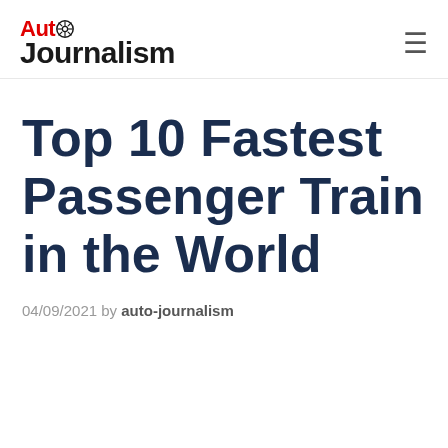Auto Journalism
Top 10 Fastest Passenger Train in the World
04/09/2021 by auto-journalism